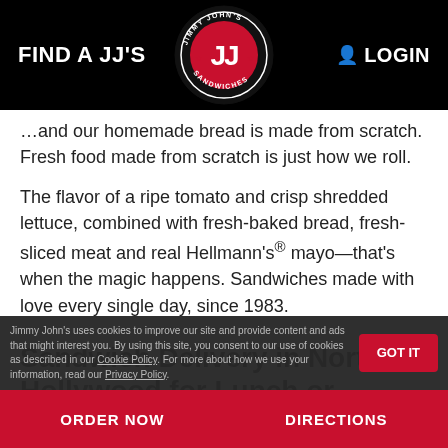FIND A JJ'S | LOGIN
[Figure (logo): Jimmy John's Sandwiches circular logo with JJ letters in red and white on black background with red stars]
...and our homemade bread is made from scratch. Fresh food made from scratch is just how we roll.
The flavor of a ripe tomato and crisp shredded lettuce, combined with fresh-baked bread, fresh-sliced meat and real Hellmann's® mayo—that's when the magic happens. Sandwiches made with love every single day, since 1983.
Sandwich Delivery in North Hollywood for Lunch or Dinner
If you need sandwich delivery, your North Hollywood Jimmy John's has you covered. We'll even deliver one
ORDER NOW    DIRECTIONS
Jimmy John's uses cookies to improve our site and provide content and ads that might interest you. By using this site, you consent to our use of cookies as described in our Cookie Policy. For more about how we use your information, read our Privacy Policy.